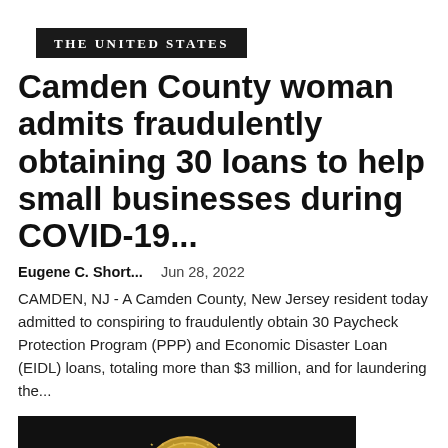THE UNITED STATES
Camden County woman admits fraudulently obtaining 30 loans to help small businesses during COVID-19...
Eugene C. Short...   Jun 28, 2022
CAMDEN, NJ - A Camden County, New Jersey resident today admitted to conspiring to fraudulently obtain 30 Paycheck Protection Program (PPP) and Economic Disaster Loan (EIDL) loans, totaling more than $3 million, and for laundering the...
[Figure (photo): Black background with a gold Department of Justice seal medallion centered in the lower portion of the image.]